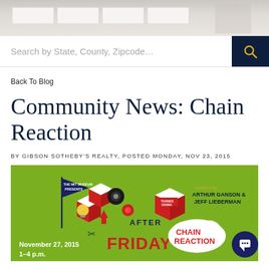[Figure (photo): Header photo of a kitchen interior, light gray/white tones]
Search by State, County, Zipcode...
Back To Blog
Community News: Chain Reaction
BY GIBSON SOTHEBY'S REALTY, POSTED MONDAY, NOV 23, 2015
[Figure (illustration): Event banner for Chain Reaction at the MIT Museum. Green background with decorative geometric shapes, machinery, and text. 'November 27, 2015 1-4 p.m.' Hosted by Arthur Ganson & Jeff Lieberman. 'AFTER FRIDAY' and 'CHAIN REACTION' text visible.]